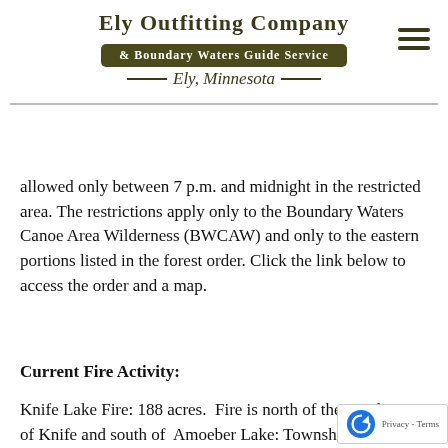Ely Outfitting Company & Boundary Waters Guide Service — Ely, Minnesota
allowed only between 7 p.m. and midnight in the restricted area. The restrictions apply only to the Boundary Waters Canoe Area Wilderness (BWCAW) and only to the eastern portions listed in the forest order. Click the link below to access the order and a map.
Current Fire Activity:
Knife Lake Fire: 188 acres. Fire is north of the South Arm of Knife and south of Amoeber Lake: Township 65, Range 6 West, Section 18. Fire managers have successfully suppressed a that was in an unsafe and inaccessible loc by bringing it out to natural barriers.